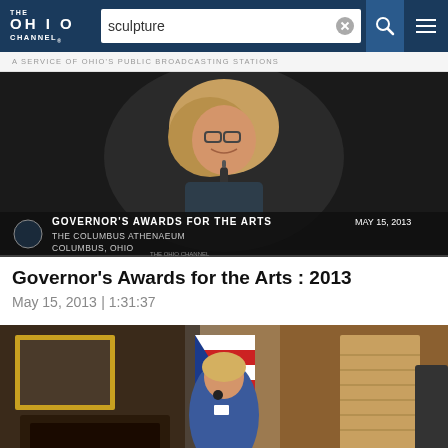THE OHIO CHANNEL — sculpture search — navigation bar
A SERVICE OF OHIO'S PUBLIC BROADCASTING STATIONS
[Figure (screenshot): Video thumbnail showing a woman at a podium smiling, with lower-third text overlay: GOVERNOR'S AWARDS FOR THE ARTS | MAY 15, 2013 | THE COLUMBUS ATHENAEUM | COLUMBUS, OHIO | THE OHIO CHANNEL]
Governor's Awards for the Arts : 2013
May 15, 2013 | 1:31:37
[Figure (screenshot): Video thumbnail showing a woman in a blue dress speaking in what appears to be a formal room with Ohio flag, fireplace, artwork, and wooden shuttered door]